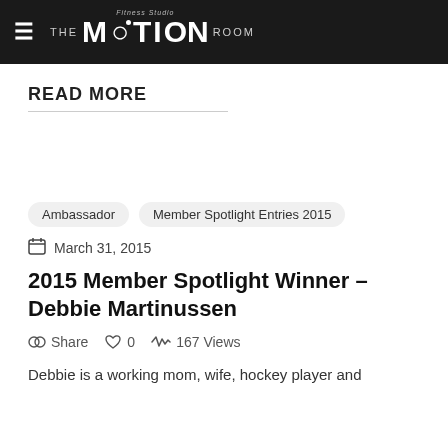The Motion Room Fitness Studio
READ MORE
Ambassador
Member Spotlight Entries 2015
March 31, 2015
2015 Member Spotlight Winner – Debbie Martinussen
Share   0   167 Views
Debbie is a working mom, wife, hockey player and